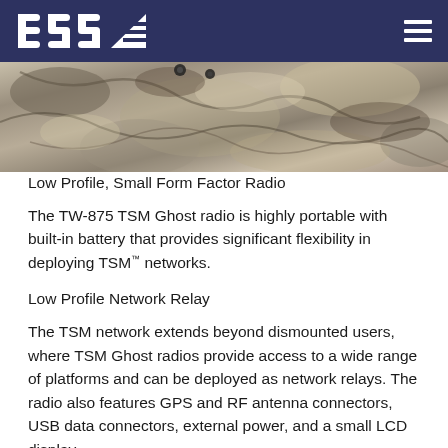BSS (logo) navigation header
[Figure (photo): Close-up photograph of rough bark/rock texture surface with camouflage-like appearance, showing a military radio device partially concealed]
Low Profile, Small Form Factor Radio
The TW-875 TSM Ghost radio is highly portable with built-in battery that provides significant flexibility in deploying TSM™ networks.
Low Profile Network Relay
The TSM network extends beyond dismounted users, where TSM Ghost radios provide access to a wide range of platforms and can be deployed as network relays. The radio also features GPS and RF antenna connectors, USB data connectors, external power, and a small LCD display.